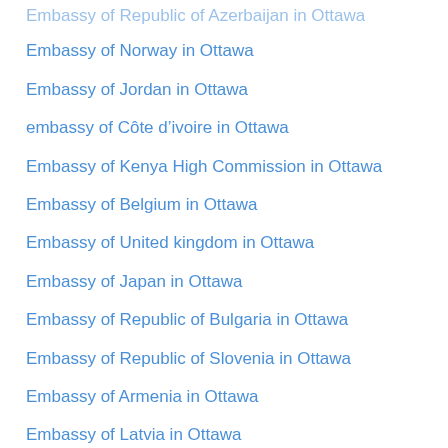Embassy of Republic of Azerbaijan in Ottawa
Embassy of Norway in Ottawa
Embassy of Jordan in Ottawa
embassy of Côte d'ivoire in Ottawa
Embassy of Kenya High Commission in Ottawa
Embassy of Belgium in Ottawa
Embassy of United kingdom in Ottawa
Embassy of Japan in Ottawa
Embassy of Republic of Bulgaria in Ottawa
Embassy of Republic of Slovenia in Ottawa
Embassy of Armenia in Ottawa
Embassy of Latvia in Ottawa